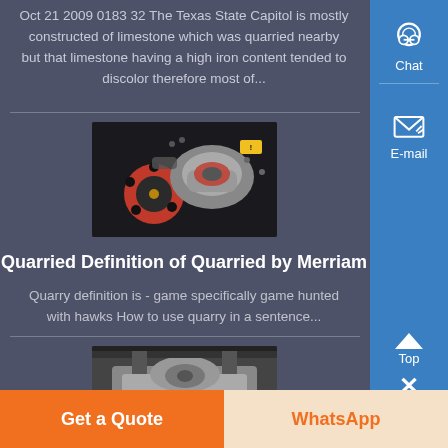Oct 21 2009 0183 32 The Texas State Capitol is mostly constructed of limestone which was quarried nearby but that limestone having a high iron content tended to discolor therefore most of...
[Figure (photo): Photo of red and grey mechanical quarry/mining equipment parts on dark background]
Quarried Definition of Quarried by Merriam
Quarry definition is - game specifically game hunted with hawks How to use quarry in a sentence...
[Figure (photo): Photo of industrial quarry crushing machine in a factory setting]
Get a Quote
WhatsApp